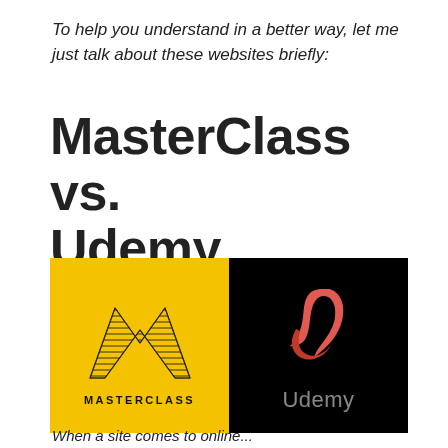To help you understand in a better way, let me just talk about these websites briefly:
MasterClass vs. Udemy
[Figure (illustration): Side-by-side logos: MasterClass logo (M lettermark with horizontal line pattern on yellow background, 'MASTERCLASS' text below) on left, Udemy logo (stylized red 'U' script on black background, 'Udemy' text below in grey) on right.]
When a site comes to online...